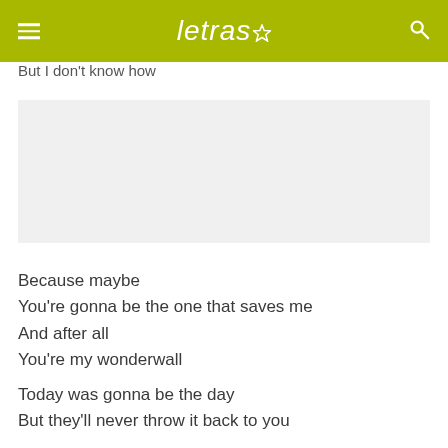letras (logo) — navigation header
But I don't know how
[Figure (other): Advertisement / placeholder grey box]
Because maybe
You're gonna be the one that saves me
And after all
You're my wonderwall
Today was gonna be the day
But they'll never throw it back to you